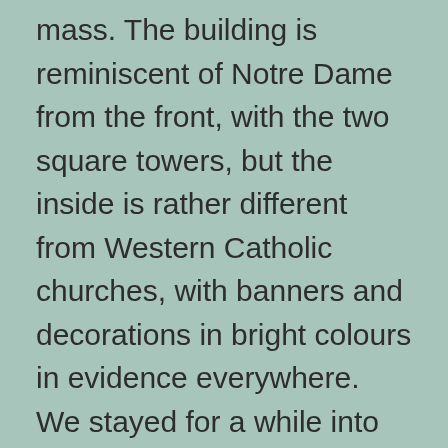mass. The building is reminiscent of Notre Dame from the front, with the two square towers, but the inside is rather different from Western Catholic churches, with banners and decorations in bright colours in evidence everywhere. We stayed for a while into the mass, but the atonal chanting in Vietnamese eventually drove us back out into the bustling city.
This morning we went out to get a sandwich breakfast, which turned out to be a bit more of a challenge than expected, but we found a good place after a long walk. The places